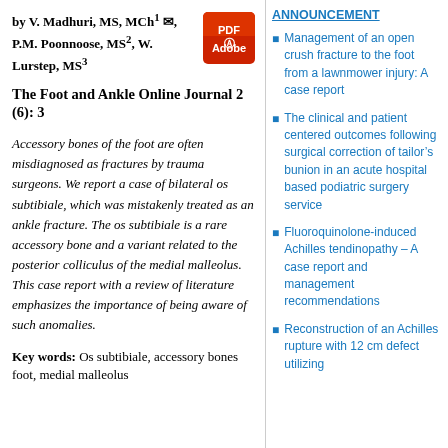by V. Madhuri, MS, MCh¹ ✉, P.M. Poonnoose, MS², W. Lurstep, MS³
The Foot and Ankle Online Journal 2 (6): 3
Accessory bones of the foot are often misdiagnosed as fractures by trauma surgeons. We report a case of bilateral os subtibiale, which was mistakenly treated as an ankle fracture. The os subtibiale is a rare accessory bone and a variant related to the posterior colliculus of the medial malleolus. This case report with a review of literature emphasizes the importance of being aware of such anomalies.
Key words: Os subtibiale, accessory bones foot, medial malleolus
ANNOUNCEMENT
Management of an open crush fracture to the foot from a lawnmower injury: A case report
The clinical and patient centered outcomes following surgical correction of tailor's bunion in an acute hospital based podiatric surgery service
Fluoroquinolone-induced Achilles tendinopathy – A case report and management recommendations
Reconstruction of an Achilles rupture with 12 cm defect utilizing